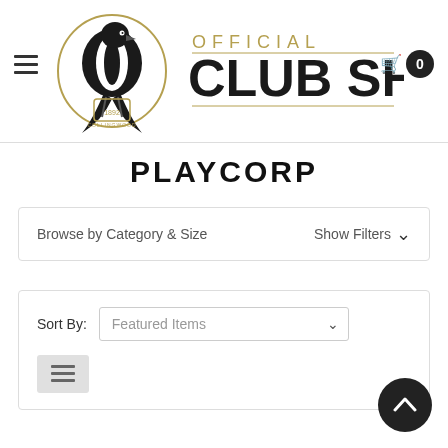[Figure (logo): Collingwood Football Club Official Club Shop logo with magpie emblem and gold/black text]
PLAYCORP
Browse by Category & Size
Show Filters
Sort By:
Featured Items